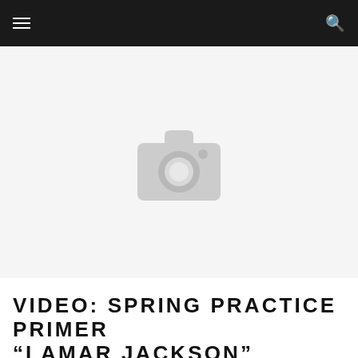[Figure (photo): Placeholder image with camera icon indicating a missing or unavailable photo]
VIDEO: SPRING PRACTICE PRIMER "LAMAR JACKSON"
MARK BLANKENBAKER  ×  APRIL 15, 2016